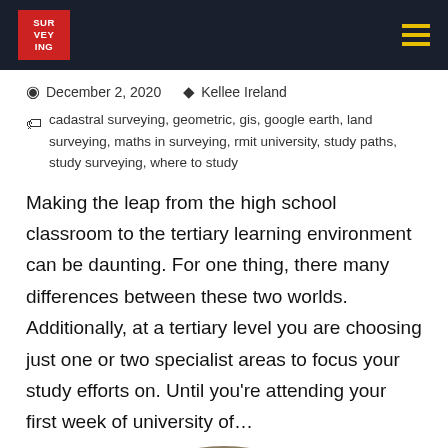SURVEYING (logo) — hamburger menu
December 2, 2020   Kellee Ireland
cadastral surveying, geometric, gis, google earth, land surveying, maths in surveying, rmit university, study paths, study surveying, where to study
Making the leap from the high school classroom to the tertiary learning environment can be daunting. For one thing, there many differences between these two worlds. Additionally, at a tertiary level you are choosing just one or two specialist areas to focus your study efforts on. Until you're attending your first week of university of…
[Figure (photo): Partial view of a circular vintage Disney sign with yellow and teal coloring, partially cropped at bottom of page]